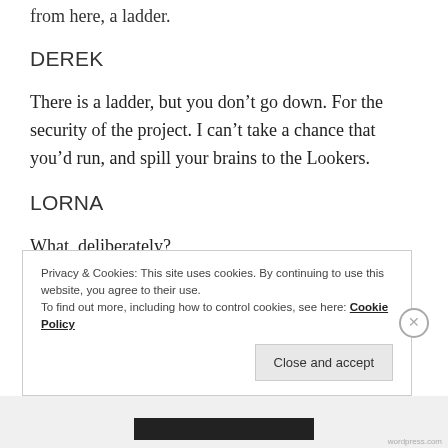from here, a ladder.
DEREK
There is a ladder, but you don’t go down. For the security of the project. I can’t take a chance that you’d run, and spill your brains to the Lookers.
LORNA
What, deliberately?
Privacy & Cookies: This site uses cookies. By continuing to use this website, you agree to their use.
To find out more, including how to control cookies, see here: Cookie Policy